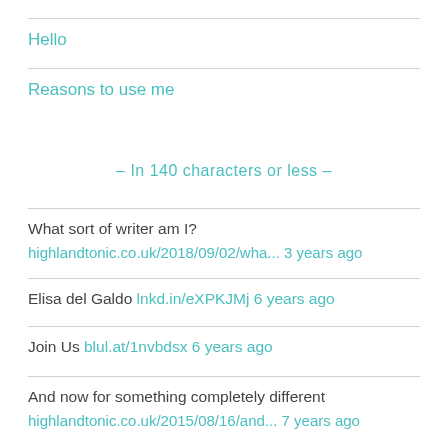Hello
Reasons to use me
- In 140 characters or less -
What sort of writer am I?
highlandtonic.co.uk/2018/09/02/wha... 3 years ago
Elisa del Galdo lnkd.in/eXPKJMj 6 years ago
Join Us blul.at/1nvbdsx 6 years ago
And now for something completely different
highlandtonic.co.uk/2015/08/16/and... 7 years ago